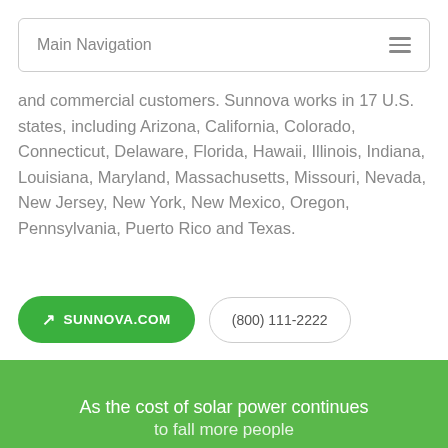Main Navigation
and commercial customers. Sunnova works in 17 U.S. states, including Arizona, California, Colorado, Connecticut, Delaware, Florida, Hawaii, Illinois, Indiana, Louisiana, Maryland, Massachusetts, Missouri, Nevada, New Jersey, New York, New Mexico, Oregon, Pennsylvania, Puerto Rico and Texas.
SUNNOVA.COM
(800) 111-2222
[Figure (logo): Decorative divider with a quote/refresh icon in the center flanked by horizontal lines]
As the cost of solar power continues to fall more people